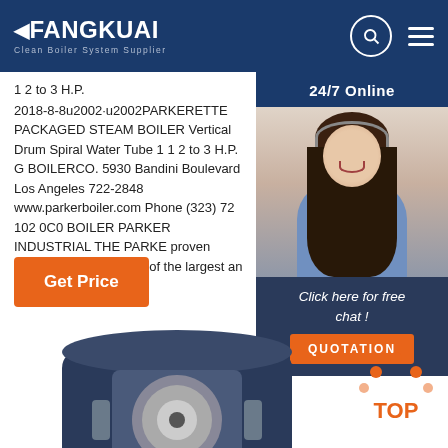FANGKUAI - Clean Boiler System Supplier
1 2 to 3 H.P.
2018-8-8u2002·u2002PARKERETTE PACKAGED STEAM BOILER Vertical Drum Spiral Water Tube 1 1 2 to 3 H.P. G BOILERCO. 5930 Bandini Boulevard Los Angeles 722-2848 www.parkerboiler.com Phone (323) 72 102 0C0 BOILER PARKER INDUSTRIAL THE PARKE proven product backed by one of the largest an
[Figure (photo): Customer service representative woman with headset, 24/7 Online chat widget, dark blue background with 'Click here for free chat!' and orange QUOTATION button]
Get Price
[Figure (photo): Industrial boiler product image - cylindrical packaged steam boiler unit viewed from above/side]
[Figure (other): TOP navigation button with orange dots forming triangle above orange TOP text]